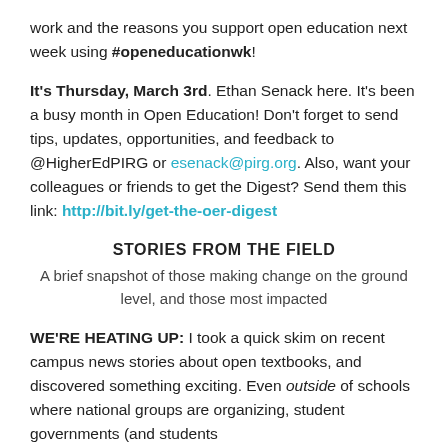work and the reasons you support open education next week using #openeducationwk!
It's Thursday, March 3rd. Ethan Senack here. It's been a busy month in Open Education! Don't forget to send tips, updates, opportunities, and feedback to @HigherEdPIRG or esenack@pirg.org. Also, want your colleagues or friends to get the Digest? Send them this link: http://bit.ly/get-the-oer-digest
STORIES FROM THE FIELD
A brief snapshot of those making change on the ground level, and those most impacted
WE'RE HEATING UP: I took a quick skim on recent campus news stories about open textbooks, and discovered something exciting. Even outside of schools where national groups are organizing, student governments (and students